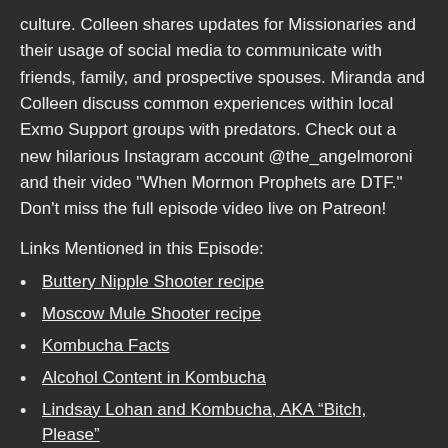culture. Colleen shares updates for Missionaries and their usage of social media to communicate with friends, family, and prospective spouses. Miranda and Colleen discuss common experiences within local Exmo Support groups with predators. Check out a new hilarious Instagram account @the_angelmoroni and their video "When Mormon Prophets are DTF." Don't miss the full episode video live on Patreon!
Links Mentioned in this Episode:
Buttery Nipple Shooter recipe
Moscow Mule Shooter recipe
Kombucha Facts
Alcohol Content in Kombucha
Lindsay Lohan and Kombucha, AKA “Bitch, Please”
BYU's Daily Universe reports on Women in Math Poster
Women in Math Poster featured on The Tonight Show